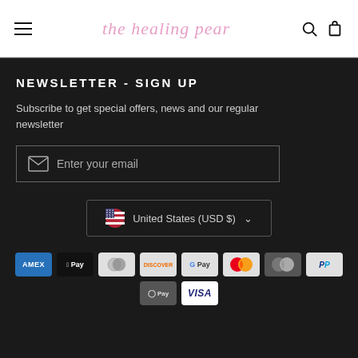the healing pear
NEWSLETTER - SIGN UP
Subscribe to get special offers, news and our regular newsletter
Enter your email
United States (USD $)
[Figure (other): Payment method icons: Amex, Apple Pay, Diners, Discover, Google Pay, Mastercard, Mastercard (grey), PayPal, OPay, Visa]